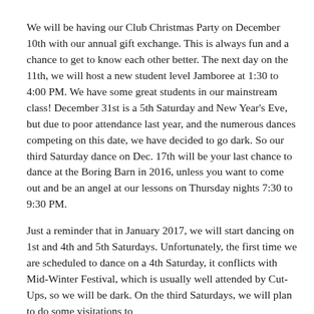We will be having our Club Christmas Party on December 10th with our annual gift exchange. This is always fun and a chance to get to know each other better. The next day on the 11th, we will host a new student level Jamboree at 1:30 to 4:00 PM. We have some great students in our mainstream class! December 31st is a 5th Saturday and New Year's Eve, but due to poor attendance last year, and the numerous dances competing on this date, we have decided to go dark. So our third Saturday dance on Dec. 17th will be your last chance to dance at the Boring Barn in 2016, unless you want to come out and be an angel at our lessons on Thursday nights 7:30 to 9:30 PM.
Just a reminder that in January 2017, we will start dancing on 1st and 4th and 5th Saturdays. Unfortunately, the first time we are scheduled to dance on a 4th Saturday, it conflicts with Mid-Winter Festival, which is usually well attended by Cut-Ups, so we will be dark. On the third Saturdays, we will plan to do some visitations to